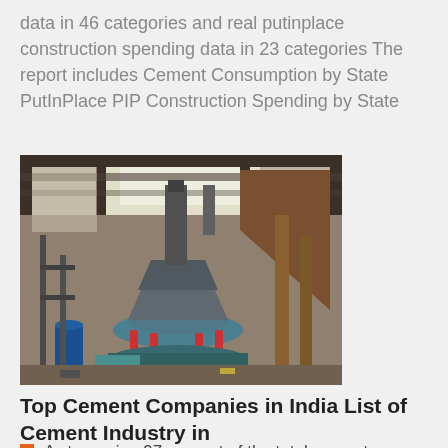data in 46 categories and real putinplace construction spending data in 23 categories The report includes Cement Consumption by State PutInPlace PIP Construction Spending by State
[Figure (photo): Industrial cement grinding machine inside a factory/industrial building with steel framework and equipment visible]
Top Cement Companies in India List of Cement Industry in
A staggering 97 percent of the total cement production in india comes from the 188 l